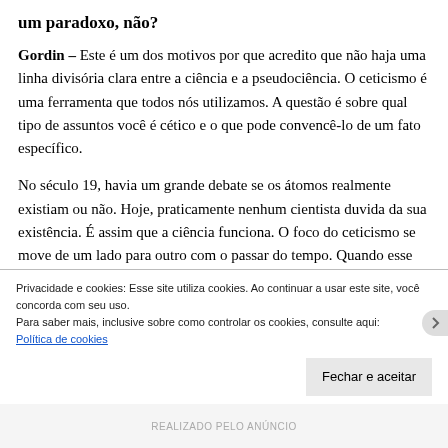um paradoxo, não?
Gordin – Este é um dos motivos por que acredito que não haja uma linha divisória clara entre a ciência e a pseudociência. O ceticismo é uma ferramenta que todos nós utilizamos. A questão é sobre qual tipo de assuntos você é cético e o que pode convencê-lo de um fato específico.
No século 19, havia um grande debate se os átomos realmente existiam ou não. Hoje, praticamente nenhum cientista duvida da sua existência. É assim que a ciência funciona. O foco do ceticismo se move de um lado para outro com o passar do tempo. Quando esse ceticismo se
Privacidade e cookies: Esse site utiliza cookies. Ao continuar a usar este site, você concorda com seu uso.
Para saber mais, inclusive sobre como controlar os cookies, consulte aqui:
Política de cookies
Fechar e aceitar